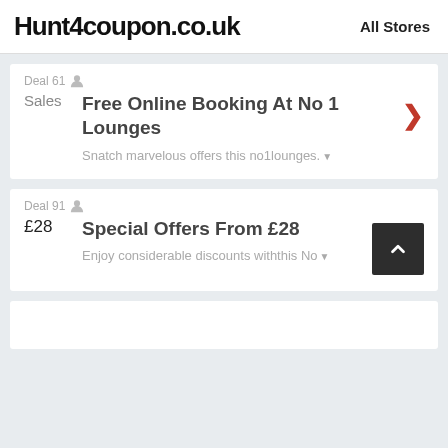Hunt4coupon.co.uk   All Stores
Deal 61
Free Online Booking At No 1 Lounges
Snatch marvelous offers this no1lounges.
Deal 91
Special Offers From £28
Enjoy considerable discounts withthis No